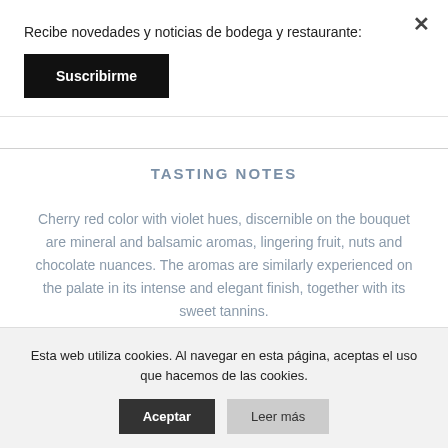Recibe novedades y noticias de bodega y restaurante:
Suscribirme
TASTING NOTES
Cherry red color with violet hues, discernible on the bouquet are mineral and balsamic aromas, lingering fruit, nuts and chocolate nuances. The aromas are similarly experienced on the palate in its intense and elegant finish, together with its sweet tannins.
PAIRING
Esta web utiliza cookies. Al navegar en esta página, aceptas el uso que hacemos de las cookies.
Aceptar
Leer más